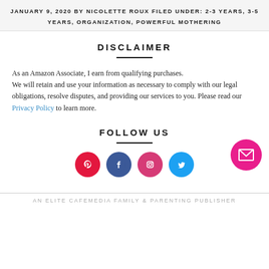JANUARY 9, 2020 BY NICOLETTE ROUX FILED UNDER: 2-3 YEARS, 3-5 YEARS, ORGANIZATION, POWERFUL MOTHERING
DISCLAIMER
As an Amazon Associate, I earn from qualifying purchases. We will retain and use your information as necessary to comply with our legal obligations, resolve disputes, and providing our services to you. Please read our Privacy Policy to learn more.
FOLLOW US
[Figure (infographic): Four circular social media icons: Pinterest (red), Facebook (blue), Instagram (pink-red), Twitter (light blue)]
AN ELITE CAFEMEDIA FAMILY & PARENTING PUBLISHER